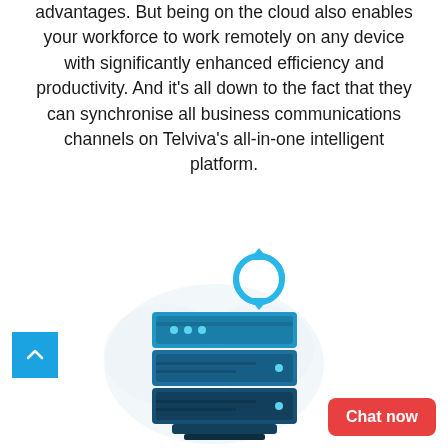advantages. But being on the cloud also enables your workforce to work remotely on any device with significantly enhanced efficiency and productivity. And it's all down to the fact that they can synchronise all business communications channels on Telviva's all-in-one intelligent platform.
[Figure (illustration): Server stack illustration with cloud synchronisation icon above it, showing blue server units stacked on each other with a circular sync arrow icon in blue at the top]
[Figure (other): Blue square up-arrow navigation button in the bottom left corner]
[Figure (other): Red 'Chat now' button in the bottom right corner]